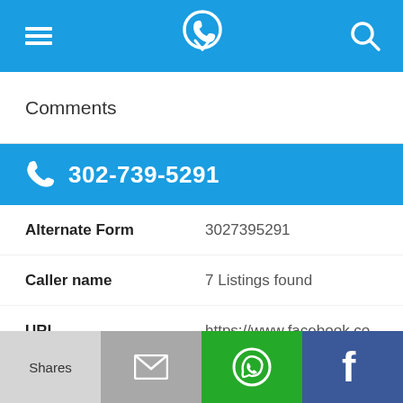Navigation bar with menu, phone lookup icon, and search icon
Comments
302-739-5291
Alternate Form	3027395291
Caller name	7 Listings found
URL	https://www.facebook.co...
Last User Search	No searches yet
Shares | [email icon] | [WhatsApp icon] | [Facebook icon]